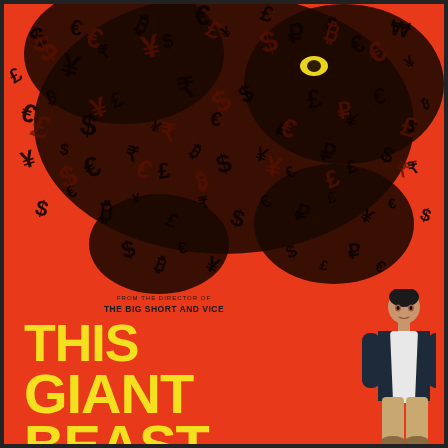[Figure (illustration): Movie poster for 'This Giant Beast That Is the Global Economy'. Bright orange/red background. Upper two-thirds filled with a large abstract creature/beast shape made of dense overlapping dark financial symbols (dollar signs, currency symbols, letters, numbers). A small yellow highlight visible near top right. Lower portion shows the show's title in large bold yellow text. A man (Kal Penn) stands to the right looking up at the beast. Text above title reads 'FROM THE DIRECTOR OF THE BIG SHORT AND VICE'.]